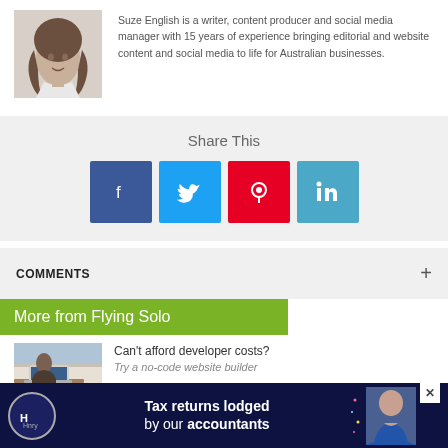[Figure (photo): Headshot photo of Suze English, a woman with long wavy hair]
Suze English is a writer, content producer and social media manager with 15 years of experience bringing editorial and website content and social media to life for Australian businesses.
Share This
[Figure (infographic): Social media share buttons: Facebook (dark blue), Twitter (light blue), Pinterest (red), LinkedIn (teal/blue)]
COMMENTS
More from Flying Solo
[Figure (photo): Photo of a woman using a laptop computer]
Can't afford developer costs? Try a no-code website builder
[Figure (infographic): Advertisement banner: Tax returns lodged by our accountants, with Hnry logo and person holding a book]